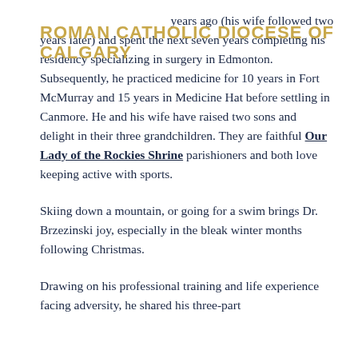ROMAN CATHOLIC DIOCESE OF CALGARY
years ago (his wife followed two years later) and spent the next seven years completing his residency specializing in surgery in Edmonton. Subsequently, he practiced medicine for 10 years in Fort McMurray and 15 years in Medicine Hat before settling in Canmore. He and his wife have raised two sons and delight in their three grandchildren. They are faithful Our Lady of the Rockies Shrine parishioners and both love keeping active with sports.
Skiing down a mountain, or going for a swim brings Dr. Brzezinski joy, especially in the bleak winter months following Christmas.
Drawing on his professional training and life experience facing adversity, he shared his three-part